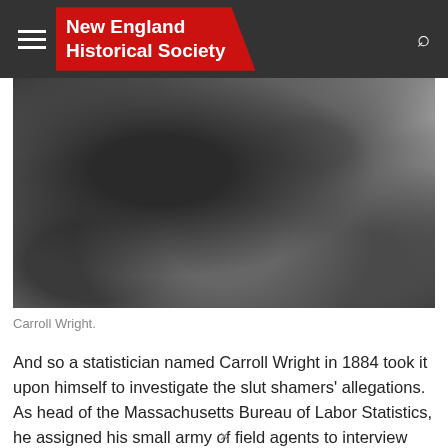New England Historical Society
[Figure (photo): Black and white photograph of Carroll Wright, showing his torso and coat, cropped close.]
Carroll Wright.
And so a statistician named Carroll Wright in 1884 took it upon himself to investigate the slut shamers' allegations. As head of the Massachusetts Bureau of Labor Statistics, he assigned his small army of field agents to interview 1,032 of the 38,881 working girls of Boston.